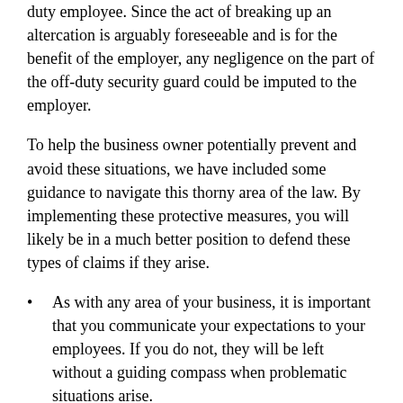duty employee. Since the act of breaking up an altercation is arguably foreseeable and is for the benefit of the employer, any negligence on the part of the off-duty security guard could be imputed to the employer.
To help the business owner potentially prevent and avoid these situations, we have included some guidance to navigate this thorny area of the law. By implementing these protective measures, you will likely be in a much better position to defend these types of claims if they arise.
As with any area of your business, it is important that you communicate your expectations to your employees. If you do not, they will be left without a guiding compass when problematic situations arise.
It is imperative that you explain to every employee when they are hired that they are not allowed to perform any work-related activities when they are off the clock. If an incident does arise, the off-duty employees should be instructed to alert a member of management or security. Once the incident has been